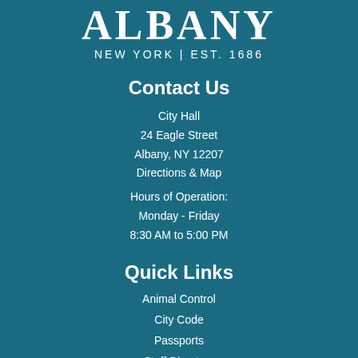[Figure (logo): City of Albany logo with large 'ALBANY' text and subtitle 'NEW YORK | EST. 1686']
Contact Us
City Hall
24 Eagle Street
Albany, NY 12207
Directions & Map
Hours of Operation:
Monday - Friday
8:30 AM to 5:00 PM
Quick Links
Animal Control
City Code
Passports
Staff Directory
Voting in Albany